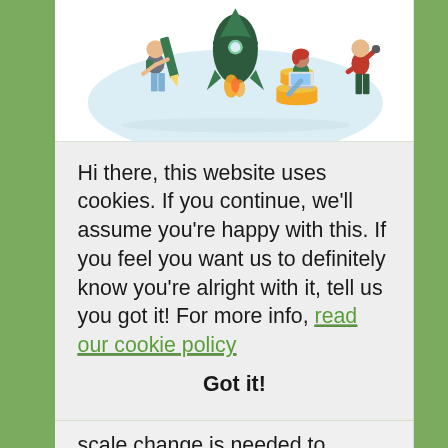[Figure (illustration): Colorful flat illustration showing three people around a large rocket launching. One person on the left holds a giant green pencil and wears a backpack. A woman sits on gold coins using a laptop. A man on the right raises his arm holding something. The background has a light blue cloud/sky shape.]
Hi there, this website uses cookies. If you continue, we'll assume you're happy with this. If you feel you want us to definitely know you're alright with it, tell us you got it! For more info, read our cookie policy
Got it!
scale change is needed to